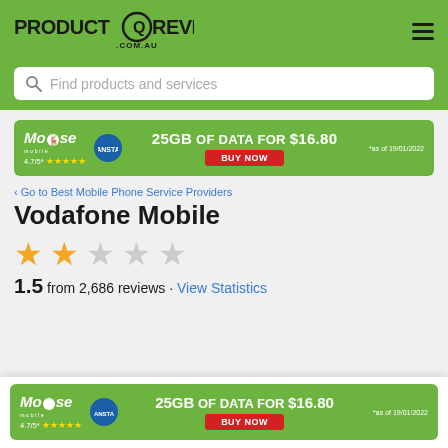PRODUCT REVIEW .COM.AU
Find products and services
[Figure (infographic): Moose Mobile advertisement banner: 25GB OF DATA FOR $16.80, BUY NOW, 4.7/5* stars, *as of 19/01/2022]
< Go to Best Mobile Phone Service Providers
Vodafone Mobile
[Figure (infographic): Star rating: 2 filled stars out of 5]
1.5 from 2,686 reviews · View Statistics
[Figure (infographic): Moose Mobile advertisement banner (bottom): 25GB OF DATA FOR $16.80, BUY NOW, 4.7/5* stars, *as of 19/01/2022]